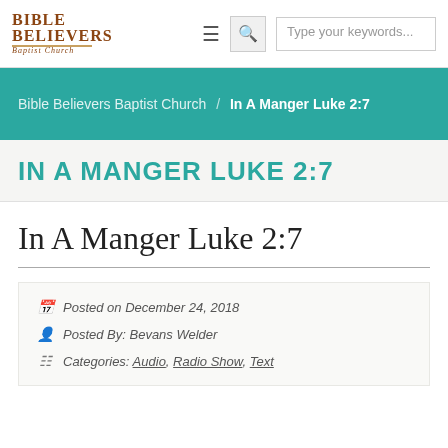Bible Believers Baptist Church — navigation bar with logo, hamburger menu, search icon, search box
Bible Believers Baptist Church / In A Manger Luke 2:7
IN A MANGER LUKE 2:7
In A Manger Luke 2:7
Posted on December 24, 2018
Posted By: Bevans Welder
Categories: Audio, Radio Show, Text